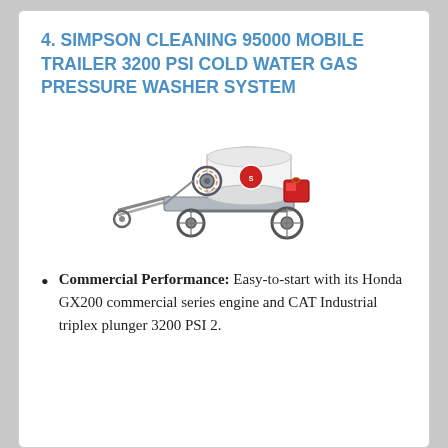4. SIMPSON CLEANING 95000 MOBILE TRAILER 3200 PSI COLD WATER GAS PRESSURE WASHER SYSTEM
[Figure (photo): A Simpson Cleaning 95000 mobile trailer pressure washer system — a white tank on a wheeled trailer with hose reel and engine visible.]
Commercial Performance: Easy-to-start with its Honda GX200 commercial series engine and CAT Industrial triplex plunger 3200 PSI 2.